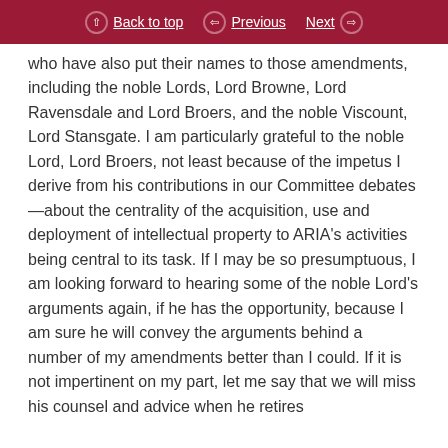Back to top  Previous  Next
who have also put their names to those amendments, including the noble Lords, Lord Browne, Lord Ravensdale and Lord Broers, and the noble Viscount, Lord Stansgate. I am particularly grateful to the noble Lord, Lord Broers, not least because of the impetus I derive from his contributions in our Committee debates—about the centrality of the acquisition, use and deployment of intellectual property to ARIA's activities being central to its task. If I may be so presumptuous, I am looking forward to hearing some of the noble Lord's arguments again, if he has the opportunity, because I am sure he will convey the arguments behind a number of my amendments better than I could. If it is not impertinent on my part, let me say that we will miss his counsel and advice when he retires